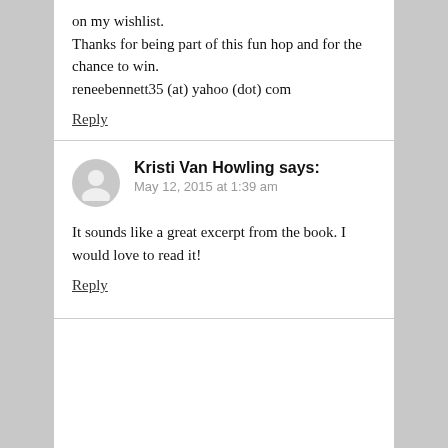on my wishlist.
Thanks for being part of this fun hop and for the chance to win.
reneebennett35 (at) yahoo (dot) com
Reply
Kristi Van Howling says:
May 12, 2015 at 1:39 am
It sounds like a great excerpt from the book. I would love to read it!
Reply